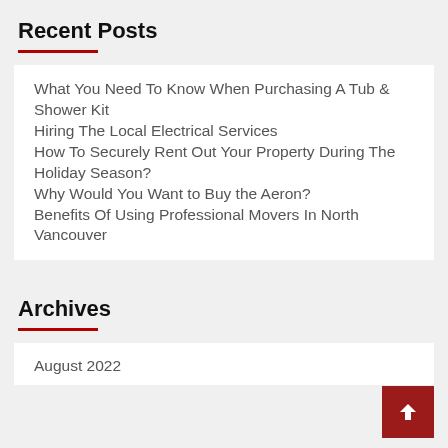Recent Posts
What You Need To Know When Purchasing A Tub & Shower Kit
Hiring The Local Electrical Services
How To Securely Rent Out Your Property During The Holiday Season?
Why Would You Want to Buy the Aeron?
Benefits Of Using Professional Movers In North Vancouver
Archives
August 2022